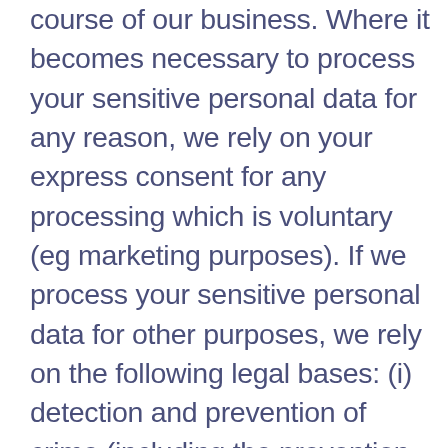course of our business. Where it becomes necessary to process your sensitive personal data for any reason, we rely on your express consent for any processing which is voluntary (eg marketing purposes). If we process your sensitive personal data for other purposes, we rely on the following legal bases: (i) detection and prevention of crime (including the prevention of fraud); and (ii) compliance with applicable law (eg regulatory requirements).